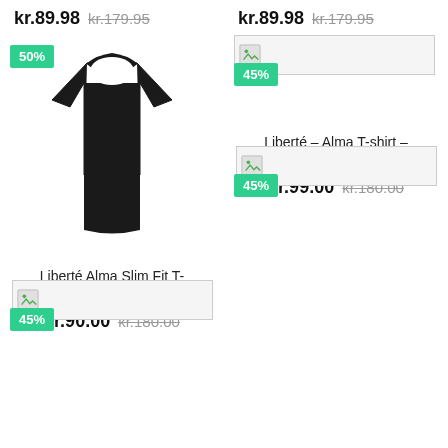kr.89.98  kr.179.95
kr.89.98  kr.179.95
[Figure (photo): Black short-sleeve t-shirt (Liberté Alma Slim Fit) with 50% discount badge]
[Figure (photo): Broken image placeholder with 45% discount badge (Liberté Alma T-shirt Coral)]
Liberté Alma Slim Fit T-Shirt Sort
Liberté – Alma T-shirt – Coral
kr.90.00  kr.180.00
kr.99.00  kr.180.00
[Figure (photo): Broken image placeholder with 45% discount badge (second row left)]
[Figure (photo): Broken image placeholder with 45% discount badge (second row right)]